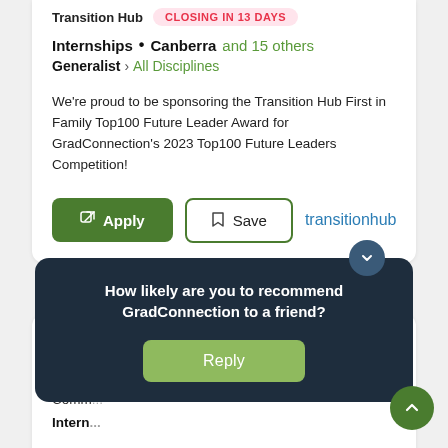Transition Hub   CLOSING IN 13 DAYS
Internships  •  Canberra and 15 others
Generalist › All Disciplines
We're proud to be sponsoring the Transition Hub First in Family Top100 Future Leader Award for GradConnection's 2023 Top100 Future Leaders Competition!
[Figure (screenshot): Apply and Save buttons with transitionhub logo]
CommBank: Unlikely Match Virtual Experience
Comm...
Internships
[Figure (infographic): Popup overlay asking 'How likely are you to recommend GradConnection to a friend?' with Reply button]